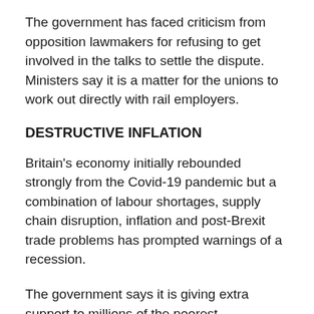The government has faced criticism from opposition lawmakers for refusing to get involved in the talks to settle the dispute. Ministers say it is a matter for the unions to work out directly with rail employers.
DESTRUCTIVE INFLATION
Britain's economy initially rebounded strongly from the Covid-19 pandemic but a combination of labour shortages, supply chain disruption, inflation and post-Brexit trade problems has prompted warnings of a recession.
The government says it is giving extra support to millions of the poorest households